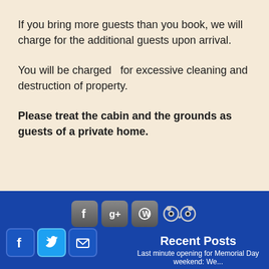If you bring more guests than you book, we will charge for the additional guests upon arrival.
You will be charged  for excessive cleaning and destruction of property.
Please treat the cabin and the grounds as guests of a private home.
Recent Posts
Last minute opening for Memorial Day weekend: We...